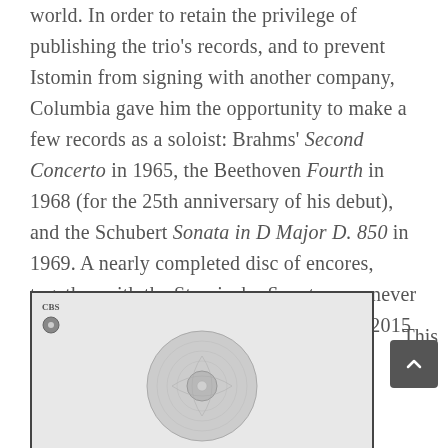world. In order to retain the privilege of publishing the trio's records, and to prevent Istomin from signing with another company, Columbia gave him the opportunity to make a few records as a soloist: Brahms' Second Concerto in 1965, the Beethoven Fourth in 1968 (for the 25th anniversary of his debut), and the Schubert Sonata in D Major D. 850 in 1969. A nearly completed disc of encores, together with the Stravinsky Sonata, was never released, and would be published only in 2015 by Sony.
[Figure (photo): A photograph of a vinyl record album cover or record label, shown partially at the bottom of the page. The image is framed with a dark border and shows a light-colored record with label text and circular grooves visible.]
This